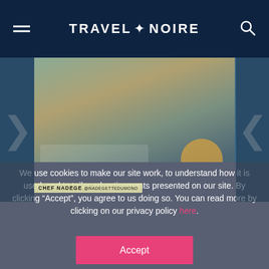TRAVEL + NOIRE
[Figure (photo): A chef (Chef Nadege @nadegettedumond) cooking at a kitchen counter with bowls and ingredients visible. The image shows a person in a blue apron working with food.]
We use cookies to make our site work, to understand how it is used, and to tailor advertisements presented on our site. By clicking “Accept”, you agree to us doing so. You can read more by clicking on our privacy policy here.
Accept